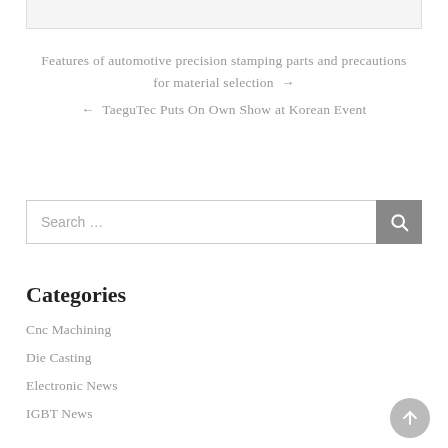[Figure (other): Partial top image bar, cropped from above]
Features of automotive precision stamping parts and precautions for material selection →
← TaeguTec Puts On Own Show at Korean Event
Search …
Categories
Cnc Machining
Die Casting
Electronic News
IGBT News